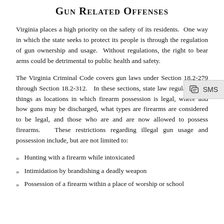Gun Related Offenses
Virginia places a high priority on the safety of its residents. One way in which the state seeks to protect its people is through the regulation of gun ownership and usage. Without regulations, the right to bear arms could be detrimental to public health and safety.
The Virginia Criminal Code covers gun laws under Section 18.2-279 through Section 18.2-312. In these sections, state law regulates such things as locations in which firearm possession is legal, where and how guns may be discharged, what types are firearms are considered to be legal, and those who are and are now allowed to possess firearms. These restrictions regarding illegal gun usage and possession include, but are not limited to:
Hunting with a firearm while intoxicated
Intimidation by brandishing a deadly weapon
Possession of a firearm within a place of worship or school